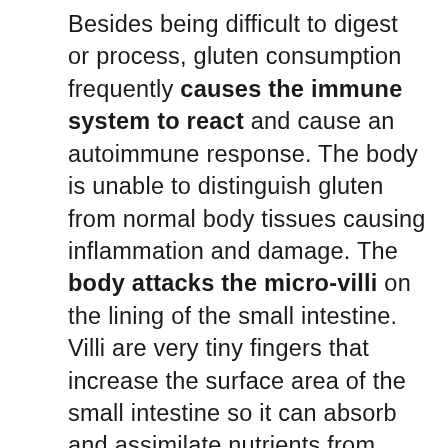Besides being difficult to digest or process, gluten consumption frequently causes the immune system to react and cause an autoimmune response. The body is unable to distinguish gluten from normal body tissues causing inflammation and damage. The body attacks the micro-villi on the lining of the small intestine. Villi are very tiny fingers that increase the surface area of the small intestine so it can absorb and assimilate nutrients from food we eat. Antibodies (molecules that destroy bacteria, viruses or other harmful toxins) triggered by gluten cause villi to flatten. Once they flatten, the villi are no longer able to